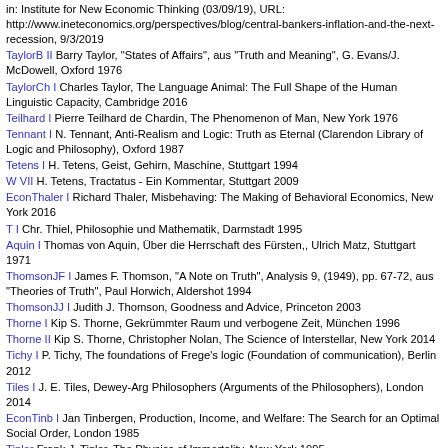in: Institute for New Economic Thinking (03/09/19), URL: http://www.ineteconomics.org/perspectives/blog/central-bankers-inflation-and-the-next-recession, 9/3/2019
TaylorB II Barry Taylor, "States of Affairs", aus "Truth and Meaning", G. Evans/J. McDowell, Oxford 1976
TaylorCh I Charles Taylor, The Language Animal: The Full Shape of the Human Linguistic Capacity, Cambridge 2016
Teilhard I Pierre Teilhard de Chardin, The Phenomenon of Man, New York 1976
Tennant I N. Tennant, Anti-Realism and Logic: Truth as Eternal (Clarendon Library of Logic and Philosophy), Oxford 1987
Tetens I H. Tetens, Geist, Gehirn, Maschine, Stuttgart 1994
W VII H. Tetens, Tractatus - Ein Kommentar, Stuttgart 2009
EconThaler I Richard Thaler, Misbehaving: The Making of Behavioral Economics, New York 2016
T I Chr. Thiel, Philosophie und Mathematik, Darmstadt 1995
Aquin I Thomas von Aquin, Über die Herrschaft des Fürsten,, Ulrich Matz, Stuttgart 1971
ThomsonJF I James F. Thomson, "A Note on Truth", Analysis 9, (1949), pp. 67-72, aus "Theories of Truth", Paul Horwich, Aldershot 1994
ThomsonJJ I Judith J. Thomson, Goodness and Advice, Princeton 2003
Thorne I Kip S. Thorne, Gekrümmter Raum und verbogene Zeit, München 1996
Thorne II Kip S. Thorne, Christopher Nolan, The Science of Interstellar, New York 2014
Tichy I P. Tichy, The foundations of Frege's logic (Foundation of communication), Berlin 2012
Tiles I J. E. Tiles, Dewey-Arg Philosophers (Arguments of the Philosophers), London 2014
EconTinb I Jan Tinbergen, Production, Income, and Welfare: The Search for an Optimal Social Order, London 1985
Tipler Frank J. Tipler, The Physics of Immortality, New York 1995
EconTobin I James Tobin, The Interest Elasticity of the Transactions Demand...